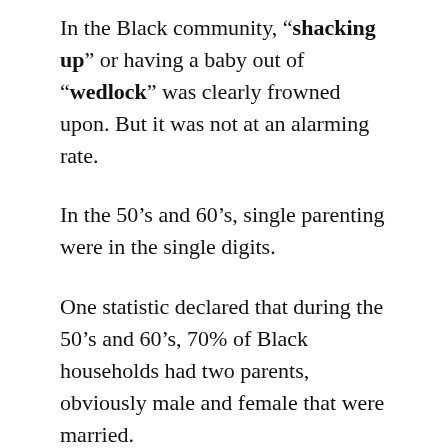In the Black community, “shacking up” or having a baby out of “wedlock” was clearly frowned upon. But it was not at an alarming rate.
In the 50’s and 60’s, single parenting were in the single digits.
One statistic declared that during the 50’s and 60’s, 70% of Black households had two parents, obviously male and female that were married.
I believe that this generation attended church services and held the reputation of a normal